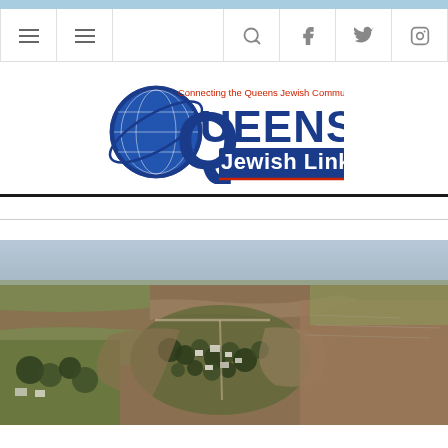Queens Jewish Link - Connecting the Queens Jewish Community
[Figure (logo): Queens Jewish Link logo with globe graphic. Text reads 'Connecting the Queens Jewish Community' in red above 'QUEENS Jewish Link' in blue and navy.]
[Figure (photo): Aerial photograph of a flooded rural town or community, showing brown floodwaters surrounding buildings, trees, and roads across flat agricultural land.]